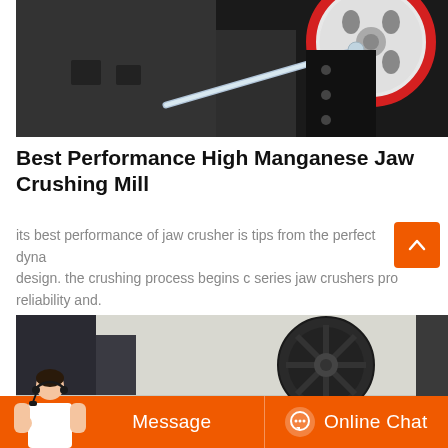[Figure (photo): Close-up photo of a jaw crusher machine showing a large red-and-white flywheel and a metal rod/pipe component against a dark background.]
Best Performance High Manganese Jaw Crushing Mill
its best performance of jaw crusher is tips from the perfect dynamic design. the crushing process begins c series jaw crushers provide reliability and.
[Figure (photo): Partial view of another jaw crusher machine showing a large dark flywheel with spokes against a light background.]
Message
Online Chat